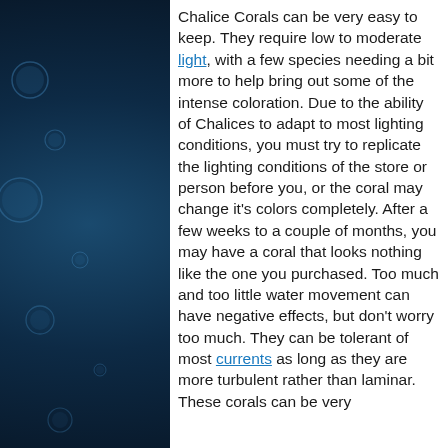Chalice Corals can be very easy to keep. They require low to moderate light, with a few species needing a bit more to help bring out some of the intense coloration. Due to the ability of Chalices to adapt to most lighting conditions, you must try to replicate the lighting conditions of the store or person before you, or the coral may change it's colors completely. After a few weeks to a couple of months, you may have a coral that looks nothing like the one you purchased. Too much and too little water movement can have negative effects, but don't worry too much. They can be tolerant of most currents as long as they are more turbulent rather than laminar. These corals can be very